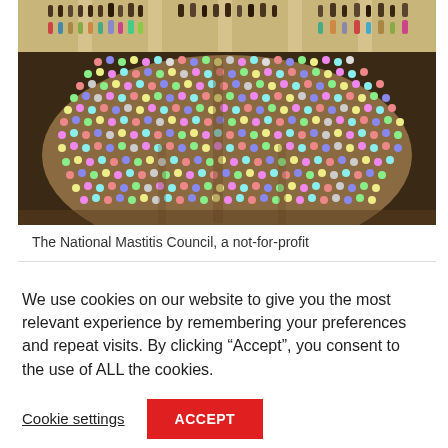[Figure (photo): Aerial/overhead view of a large circular auditorium filled with a crowd of attendees seated in rows, with balcony levels visible around the perimeter.]
The National Mastitis Council, a not-for-profit
We use cookies on our website to give you the most relevant experience by remembering your preferences and repeat visits. By clicking “Accept”, you consent to the use of ALL the cookies.
Cookie settings
ACCEPT